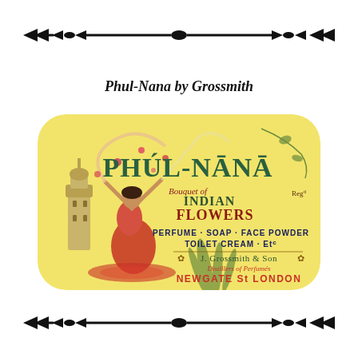[Figure (illustration): Decorative horizontal divider with arrows and diamond shapes, black on white, spanning the top of the page]
Phul-Nana by Grossmith
[Figure (illustration): Vintage product label for Phul-Nana by J. Grossmith & Son. Yellow rounded-rectangle label showing a dancing Indian woman in red dress with flowers and ribbons, a decorative tower/minaret on left, tropical plants. Text reads PHÚL-NĀNA, Bouquet of Indian Flowers, Reg'd, PERFUME · SOAP · FACE POWDER, TOILET CREAM · Etc, J. Grossmith & Son, Distillers of Perfumes, NEWGATE St LONDON]
[Figure (illustration): Decorative horizontal divider with arrows and diamond shapes, black on white, spanning the bottom of the page]